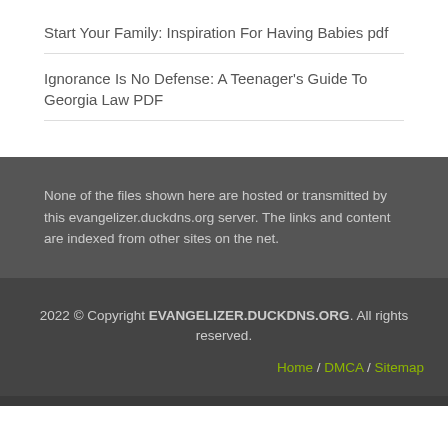Start Your Family: Inspiration For Having Babies pdf
Ignorance Is No Defense: A Teenager's Guide To Georgia Law PDF
None of the files shown here are hosted or transmitted by this evangelizer.duckdns.org server. The links and content are indexed from other sites on the net.
2022 © Copyright EVANGELIZER.DUCKDNS.ORG. All rights reserved.
Home / DMCA / Sitemap